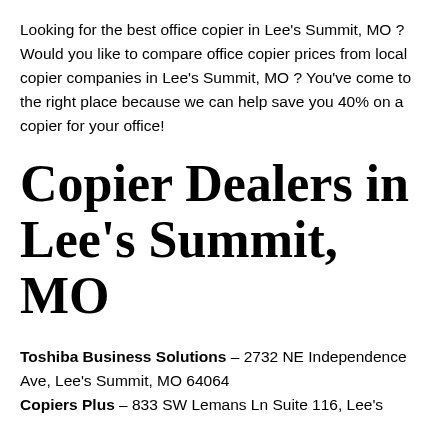Looking for the best office copier in Lee's Summit, MO ? Would you like to compare office copier prices from local copier companies in Lee's Summit, MO ? You've come to the right place because we can help save you 40% on a copier for your office!
Copier Dealers in Lee's Summit, MO
Toshiba Business Solutions – 2732 NE Independence Ave, Lee's Summit, MO 64064
Copiers Plus – 833 SW Lemans Ln Suite 116, Lee's